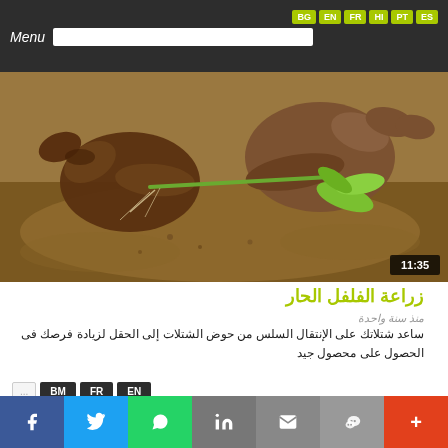BG EN FR HI PT ES | Menu
[Figure (photo): Close-up of dark hands holding a green seedling plant with roots, over dry soil. Video thumbnail with duration 11:35.]
زراعة الفلفل الحار
منذ سنة واحدة
ساعد شتلاتك على الإنتقال السلس من حوض الشتلات إلى الحقل لزيادة فرصك فى الحصول على محصول جيد
... BM FR EN
f  🐦  WhatsApp  in  ✉  WeChat  +